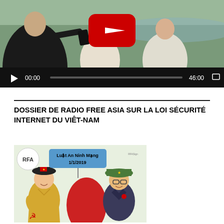[Figure (screenshot): YouTube video player showing three people sitting outdoors near a body of water. Video duration 46:00 with playback controls at the bottom showing 00:00 timestamp.]
DOSSIER DE RADIO FREE ASIA SUR LA LOI SÉCURITÉ INTERNET DU VIÊT-NAM
[Figure (illustration): Political cartoon from Radio Free Asia (RFA) showing caricatures related to Vietnam's cybersecurity law 'Luật An Ninh Mạng 1/1/2019'. Features a figure in traditional Chinese dress holding a Communist Party hammer-and-sickle symbol on the left, a large red shape in the center, and a Vietnamese official in military-style green hat and suit on the right.]